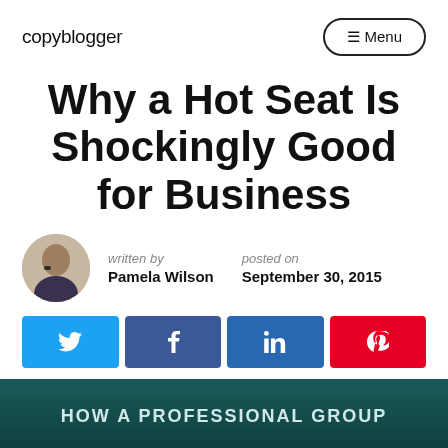copyblogger | Menu
Why a Hot Seat Is Shockingly Good for Business
written by Pamela Wilson | posted on September 30, 2015
[Figure (infographic): Social share buttons: Twitter, Facebook, LinkedIn, Pinterest]
[Figure (illustration): Dark teal wood-panel background with text HOW A PROFESSIONAL GROUP]